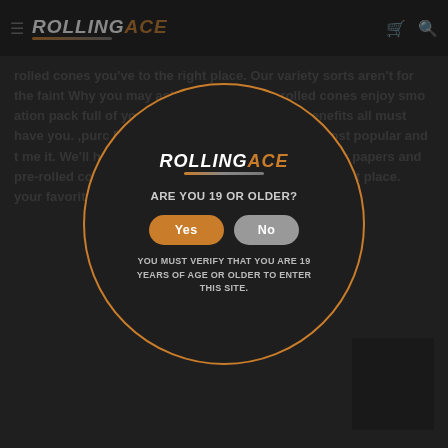Rolling Ace — navigation bar with logo, hamburger menu, cart, and search icons
rolled cones you've to the right place. Our variety sorts aren't for the faint of heart. Why you may ask? Featuring a selection of pre-rolled cones enjoy smoking a rotation pack full of your favorite brand Ra… enjoy the benefits of… all must have… your purchase… We… Ac Rolling Ace… from your most popular and the… name it. We'll have it! If you're looking for high-quantity papers and pre-rolled cones, then you've defiantly come to the right place… your favorite products delivered right to your door…
[Figure (screenshot): Age verification modal dialog overlaid on the Rolling Ace website. Contains the Rolling Ace logo at the top, the question ARE YOU 19 OR OLDER?, two buttons labeled Yes (orange) and No (gray), and a warning message: YOU MUST VERIFY THAT YOU ARE 19 YEARS OF AGE OR OLDER TO ENTER THIS SITE.]